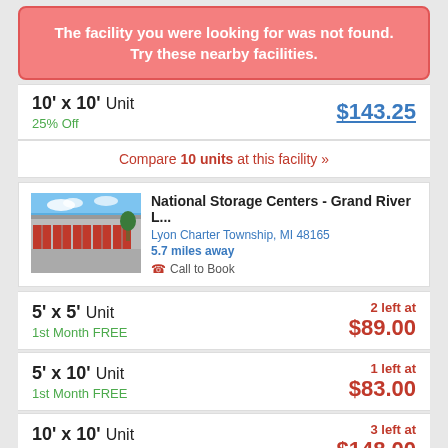The facility you were looking for was not found. Try these nearby facilities.
10' x 10' Unit
25% Off
$143.25
Compare 10 units at this facility »
[Figure (photo): Exterior photo of a storage facility with red doors]
National Storage Centers - Grand River L...
Lyon Charter Township, MI 48165
5.7 miles away
Call to Book
5' x 5' Unit
1st Month FREE
2 left at
$89.00
5' x 10' Unit
1st Month FREE
1 left at
$83.00
10' x 10' Unit
1/2 Off First Month
3 left at
$148.00